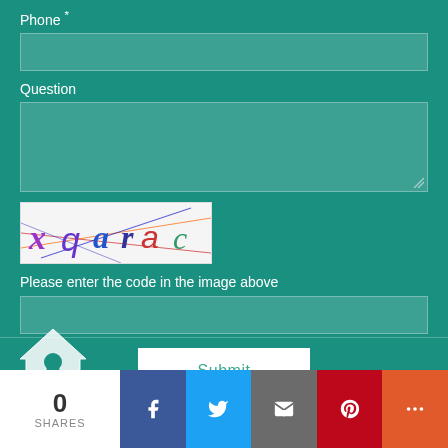Phone *
[Figure (screenshot): Phone input text field (empty, teal background)]
Question
[Figure (screenshot): Question multi-line textarea (empty, teal background)]
[Figure (other): CAPTCHA image showing text 'xq arac' with colored lines]
Please enter the code in the image above
[Figure (screenshot): CAPTCHA code input text field (empty)]
[Figure (screenshot): Submit button (white background, teal text)]
[Figure (infographic): Share bar with count 0 SHARES, Facebook, Twitter, Email, Pinterest, More buttons]